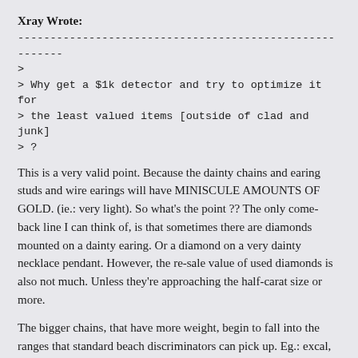Xray Wrote:
--------------------------------------------------------
>
> Why get a $1k detector and try to optimize it for
> the least valued items [outside of clad and junk]
> ?
This is a very valid point. Because the dainty chains and earing studs and wire earings will have MINISCULE AMOUNTS OF GOLD. (ie.: very light). So what's the point ?? The only come-back line I can think of, is that sometimes there are diamonds mounted on a dainty earing. Or a diamond on a very dainty necklace pendant. However, the re-sale value of used diamonds is also not much. Unless they're approaching the half-carat size or more.
The bigger chains, that have more weight, begin to fall into the ranges that standard beach discriminators can pick up. Eg.: excal, sov, CZ, etc.... So a person might ask "What's the point ?" I guess for me, it's that if the cross-over can be done, in zones where no light stuff exists, WITHOUT compromising the normal coin-sized option ability, then .... might as well get some flitty stuff too.
Also: I hope to find out how well the new deep in party black...